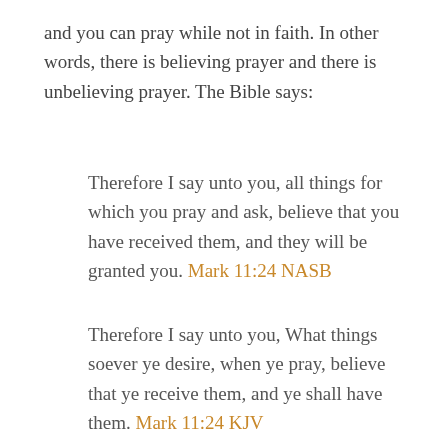and you can pray while not in faith. In other words, there is believing prayer and there is unbelieving prayer. The Bible says:
Therefore I say unto you, all things for which you pray and ask, believe that you have received them, and they will be granted you. Mark 11:24 NASB
Therefore I say unto you, What things soever ye desire, when ye pray, believe that ye receive them, and ye shall have them. Mark 11:24 KJV